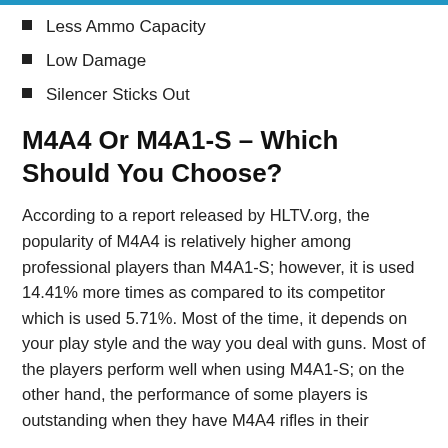Less Ammo Capacity
Low Damage
Silencer Sticks Out
M4A4 Or M4A1-S – Which Should You Choose?
According to a report released by HLTV.org, the popularity of M4A4 is relatively higher among professional players than M4A1-S; however, it is used 14.41% more times as compared to its competitor which is used 5.71%. Most of the time, it depends on your play style and the way you deal with guns. Most of the players perform well when using M4A1-S; on the other hand, the performance of some players is outstanding when they have M4A4 rifles in their